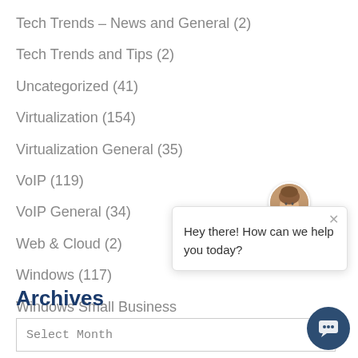Tech Trends – News and General (2)
Tech Trends and Tips (2)
Uncategorized (41)
Virtualization (154)
Virtualization General (35)
VoIP (119)
VoIP General (34)
Web & Cloud (2)
Windows (117)
Windows Small Business
[Figure (screenshot): Chat popup with avatar photo of a woman, close button (x), and text 'Hey there! How can we help you today?']
Archives
Select Month